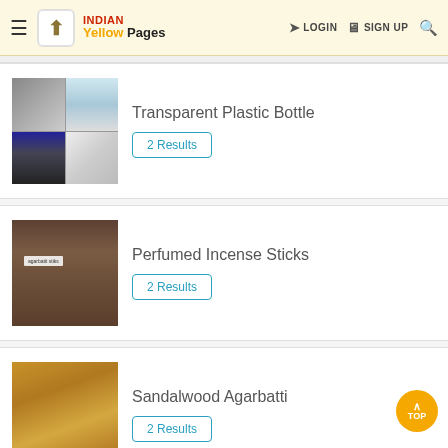Indian Yellow Pages — LOGIN  SIGN UP
Transparent Plastic Bottle
2 Results
Perfumed Incense Sticks
2 Results
Sandalwood Agarbatti
2 Results